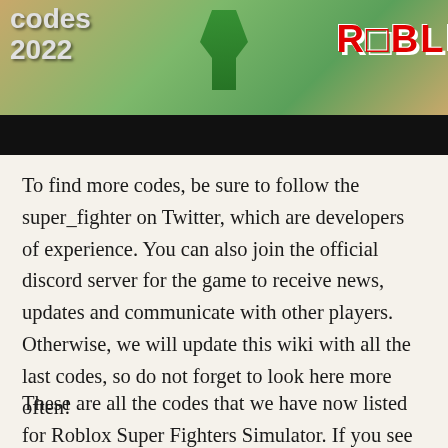[Figure (screenshot): Screenshot showing a Roblox game thumbnail with text 'codes 2022' on the left and 'ROBLOX' logo in red on the right, with a green character/background. Below is a black bar.]
To find more codes, be sure to follow the super_fighter on Twitter, which are developers of experience. You can also join the official discord server for the game to receive news, updates and communicate with other players. Otherwise, we will update this wiki with all the last codes, so do not forget to look here more often!
These are all the codes that we have now listed for Roblox Super Fighters Simulator. If you see